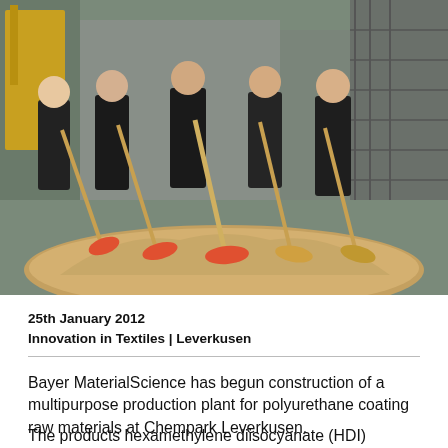[Figure (photo): Group of five people in dark clothing holding red shovels in a groundbreaking ceremony, standing around a mound of sand/gravel at an industrial facility.]
25th January 2012
Innovation in Textiles | Leverkusen
Bayer MaterialScience has begun construction of a multipurpose production plant for polyurethane coating raw materials at Chempark Leverkusen.
The products hexamethylene diisocyanate (HDI)